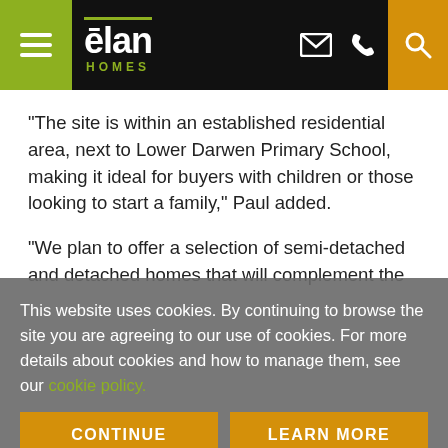Elan Homes — website header with navigation
“The site is within an established residential area, next to Lower Darwen Primary School, making it ideal for buyers with children or those looking to start a family,” Paul added.
“We plan to offer a selection of semi-detached and detached homes that will complement the
This website uses cookies. By continuing to browse the site you are agreeing to our use of cookies. For more details about cookies and how to manage them, see our cookie policy.